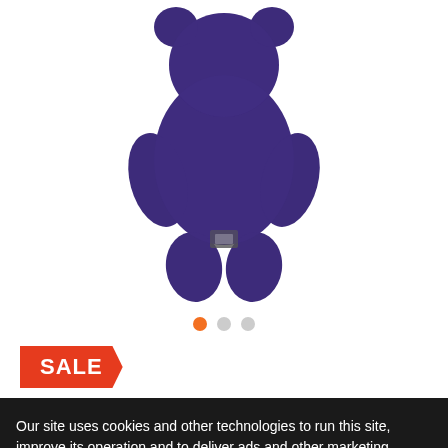[Figure (photo): Purple stuffed animal/plush toy (teddy bear) photographed from above against a white background, showing the back of the toy with its arms and legs visible.]
• • •  (carousel dots: first dot active/orange, second and third inactive/grey)
SALE
Our site uses cookies and other technologies to run this site, improve its operation and to deliver ads and other marketing materials to you. To learn more about how we use cookies, please see our Privacy Policy. To manage the cookies we use with you, please click here.
OK